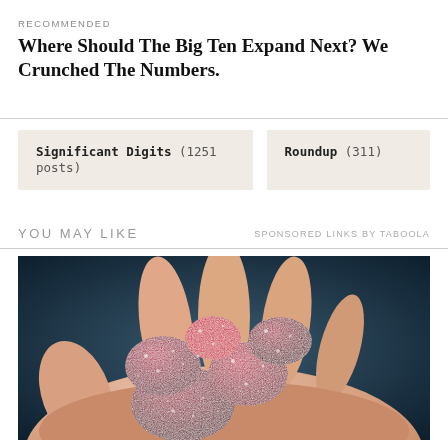RECOMMENDED
Where Should The Big Ten Expand Next? We Crunched The Numbers.
Significant Digits (1251 posts)
Roundup (311)
YOU MAY LIKE
SPONSORED LINKS BY TABOOLA
[Figure (photo): A hand holding several sugar-coated gummy candies]